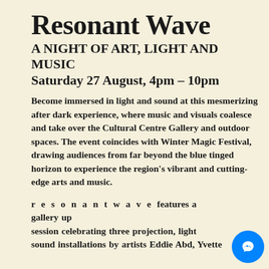Resonant Wave
A NIGHT OF ART, LIGHT AND MUSIC
Saturday 27 August, 4pm – 10pm
Become immersed in light and sound at this mesmerizing after dark experience, where music and visuals coalesce and take over the Cultural Centre Gallery and outdoor spaces. The event coincides with Winter Magic Festival, drawing audiences from far beyond the blue tinged horizon to experience the region's vibrant and cutting-edge arts and music.
r e s o n a n t w a v e features a gallery up session celebrating three projection, light and sound installations by artists Eddie Abd, Yvette Hamilton and Kim McTavish. It was presented at the